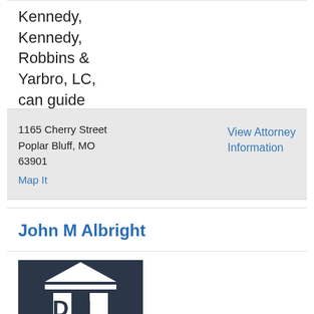Kennedy, Kennedy, Robbins & Yarbro, LC, can guide
1165 Cherry Street
Poplar Bluff, MO
63901
Map It
View Attorney Information
John M Albright
[Figure (logo): Dark blue/navy square logo with a white courthouse/building icon with columns and triangular roof, with letters 'DLI' below in white block style]